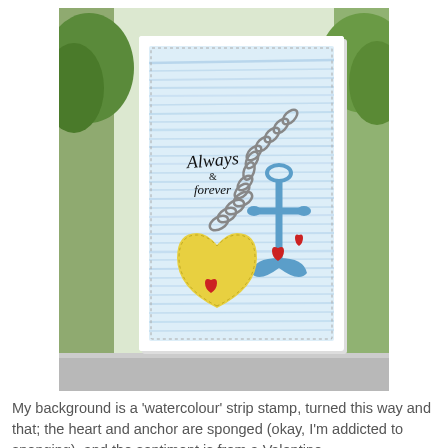[Figure (photo): A handmade greeting card photographed on a windowsill. The card features a light blue watercolour striped background with a yellow heart and blue anchor die-cuts connected by a silver chain. Small red hearts decorate the anchor and heart. Script text on the card reads 'Always & forever'.]
My background is a 'watercolour' strip stamp, turned this way and that; the heart and anchor are sponged (okay, I'm addicted to sponging), and the sentiment is from a Valentine